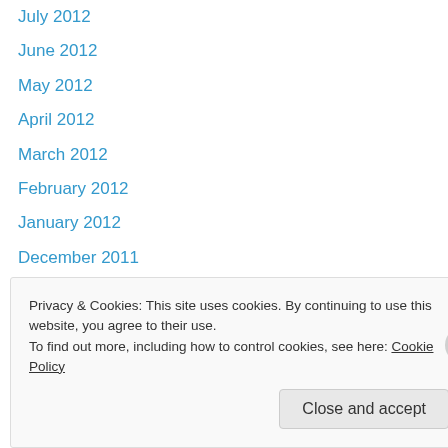July 2012
June 2012
May 2012
April 2012
March 2012
February 2012
January 2012
December 2011
October 2011
September 2011
August 2011
July 2011
June 2011
Privacy & Cookies: This site uses cookies. By continuing to use this website, you agree to their use.
To find out more, including how to control cookies, see here: Cookie Policy